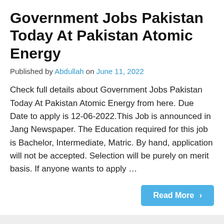Government Jobs Pakistan Today At Pakistan Atomic Energy
Published by Abdullah on June 11, 2022
Check full details about Government Jobs Pakistan Today At Pakistan Atomic Energy from here. Due Date to apply is 12-06-2022.This Job is announced in Jang Newspaper. The Education required for this job is Bachelor, Intermediate, Matric. By hand, application will not be accepted. Selection will be purely on merit basis. If anyone wants to apply …
Read More ›
Government Jobs in Punjab 2022 At Polio Eradication Program